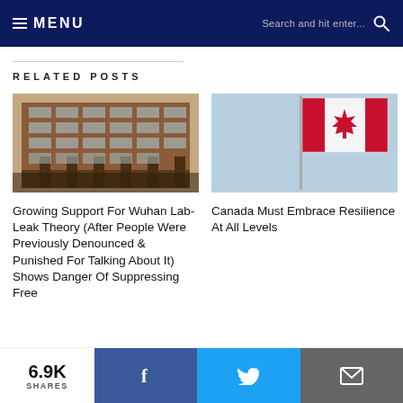MENU | Search and hit enter...
RELATED POSTS
[Figure (photo): Exterior of a large modern brick and glass building, likely a government or institutional building]
Growing Support For Wuhan Lab-Leak Theory (After People Were Previously Denounced & Punished For Talking About It) Shows Danger Of Suppressing Free
[Figure (photo): Canadian flag waving against a light blue sky]
Canada Must Embrace Resilience At All Levels
6.9K SHARES